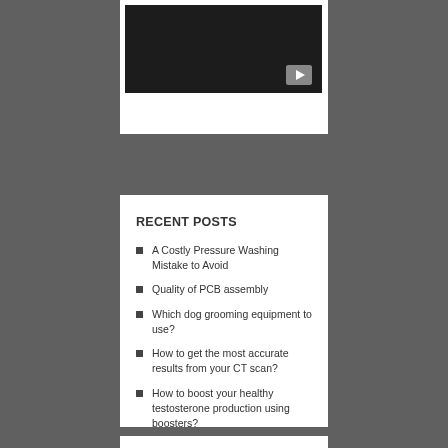[Figure (screenshot): Video player thumbnail with dark background and YouTube play button in upper right]
RECENT POSTS
A Costly Pressure Washing Mistake to Avoid
Quality of PCB assembly
Which dog grooming equipment to use?
How to get the most accurate results from your CT scan?
How to boost your healthy testosterone production using boosters?